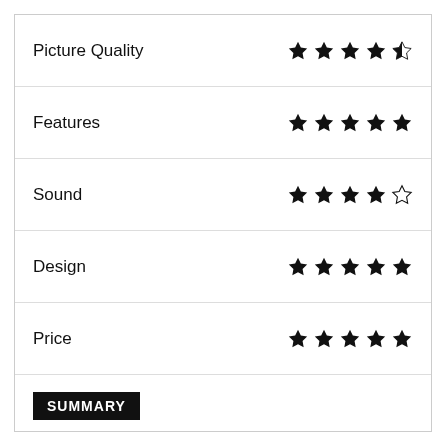| Category | Rating |
| --- | --- |
| Picture Quality | 4.5 stars |
| Features | 5 stars |
| Sound | 4 stars |
| Design | 5 stars |
| Price | 5 stars |
SUMMARY
[Figure (infographic): Overall score 4.7 out of 5, shown as large bold number with 4.5 stars below labeled OVERALL SCORE]